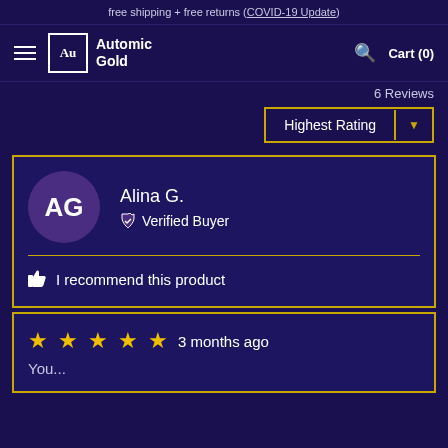free shipping + free returns (COVID-19 Update)
[Figure (logo): Automic Gold brand logo with hamburger menu, Au logo box, brand name, search icon, and Cart (0)]
6 Reviews
Highest Rating (dropdown)
AG - Alina G. - Verified Buyer
I recommend this product
★★★★★ 3 months ago
You...